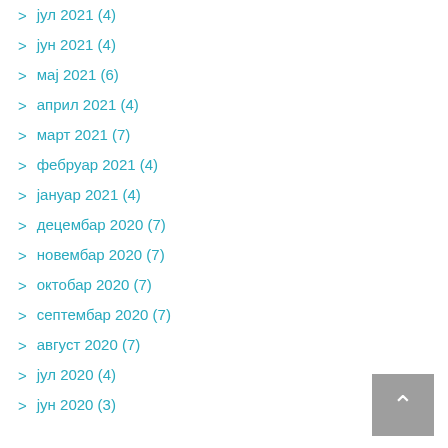јул 2021 (4)
јун 2021 (4)
мај 2021 (6)
април 2021 (4)
март 2021 (7)
фебруар 2021 (4)
јануар 2021 (4)
децембар 2020 (7)
новембар 2020 (7)
октобар 2020 (7)
септембар 2020 (7)
август 2020 (7)
јул 2020 (4)
јун 2020 (3)